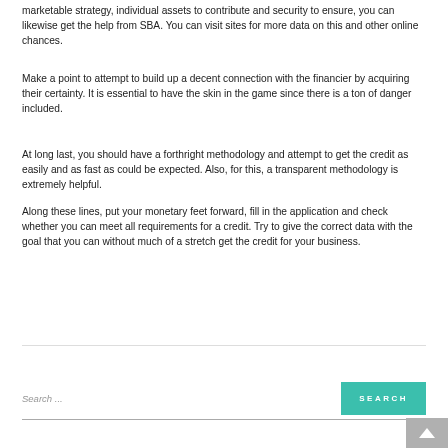marketable strategy, individual assets to contribute and security to ensure, you can likewise get the help from SBA. You can visit sites for more data on this and other online chances.
Make a point to attempt to build up a decent connection with the financier by acquiring their certainty. It is essential to have the skin in the game since there is a ton of danger included.
At long last, you should have a forthright methodology and attempt to get the credit as easily and as fast as could be expected. Also, for this, a transparent methodology is extremely helpful.
Along these lines, put your monetary feet forward, fill in the application and check whether you can meet all requirements for a credit. Try to give the correct data with the goal that you can without much of a stretch get the credit for your business.
READ MORE
Search ...
SEARCH